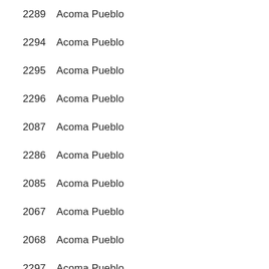2289  Acoma Pueblo
2294  Acoma Pueblo
2295  Acoma Pueblo
2296  Acoma Pueblo
2087  Acoma Pueblo
2286  Acoma Pueblo
2085  Acoma Pueblo
2067  Acoma Pueblo
2068  Acoma Pueblo
2297  Acoma Pueblo